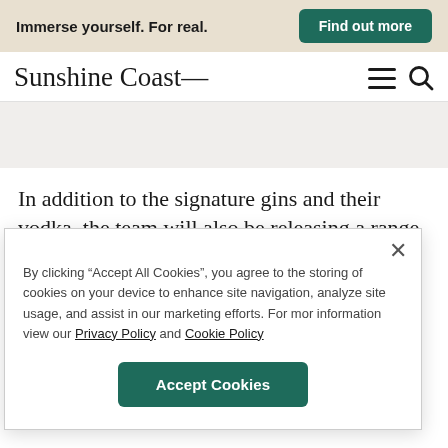Immerse yourself. For real.   Find out more
Sunshine Coast
In addition to the signature gins and their vodka, the team will also be releasing a range of seasonal
By clicking “Accept All Cookies”, you agree to the storing of cookies on your device to enhance site navigation, analyze site usage, and assist in our marketing efforts. For mor information view our Privacy Policy and Cookie Policy
Accept Cookies